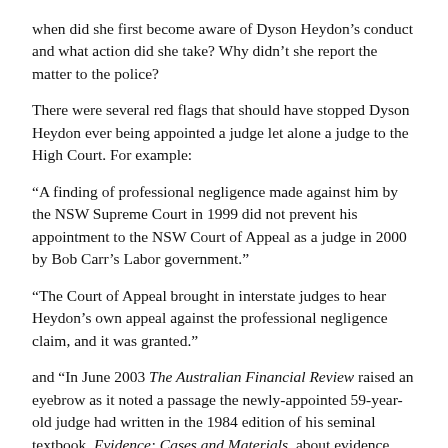when did she first become aware of Dyson Heydon's conduct and what action did she take? Why didn't she report the matter to the police?
There were several red flags that should have stopped Dyson Heydon ever being appointed a judge let alone a judge to the High Court. For example:
“A finding of professional negligence made against him by the NSW Supreme Court in 1999 did not prevent his appointment to the NSW Court of Appeal as a judge in 2000 by Bob Carr’s Labor government.”
“The Court of Appeal brought in interstate judges to hear Heydon’s own appeal against the professional negligence claim, and it was granted.”
and “In June 2003 The Australian Financial Review raised an eyebrow as it noted a passage the newly-appointed 59-year-old judge had written in the 1984 edition of his seminal textbook, Evidence: Cases and Materials, about evidence given by children. “Children sometimes behave in a way evil beyond their years. They may consent to sexual offenses